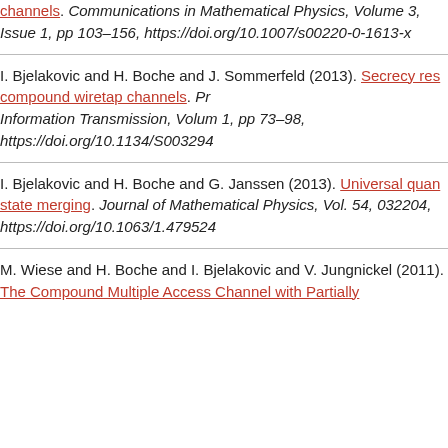channels. Communications in Mathematical Physics, Volume 3, Issue 1, pp 103–156, https://doi.org/10.1007/s00220-0-1613-x
I. Bjelakovic and H. Boche and J. Sommerfeld (2013). Secrecy res compound wiretap channels. Problems of Information Transmission, Volume 1, pp 73–98, https://doi.org/10.1134/S003294...
I. Bjelakovic and H. Boche and G. Janssen (2013). Universal quantum state merging. Journal of Mathematical Physics, Vol. 54, 032204, https://doi.org/10.1063/1.479524...
M. Wiese and H. Boche and I. Bjelakovic and V. Jungnickel (2011). The Compound Multiple Access Channel with Partially...